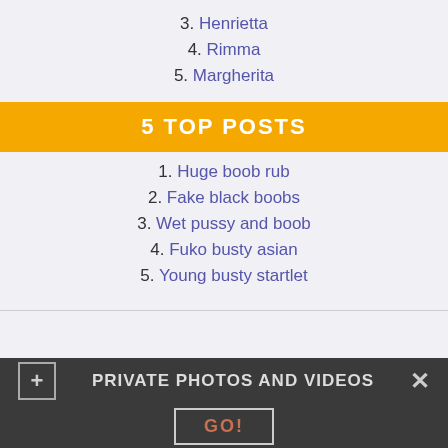3. Henrietta
4. Rimma
5. Margherita
5 TOP POSTS
1. Huge boob rub
2. Fake black boobs
3. Wet pussy and boob
4. Fuko busty asian
5. Young busty startlet
PRIVATE PHOTOS AND VIDEOS  GO!